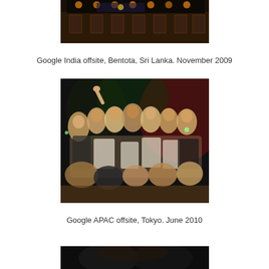[Figure (photo): Group photo at Google India offsite event in Bentota, Sri Lanka, November 2009. People standing on a stage with decorative lighting in background.]
Google India offsite, Bentota, Sri Lanka. November 2009
[Figure (photo): Large group photo at Google APAC offsite in Tokyo, June 2010. Many people posing together in a dimly lit venue with red and green lighting.]
Google APAC offsite, Tokyo. June 2010
[Figure (photo): Partial photo at bottom of page, dark image, appears to be another group event photo.]